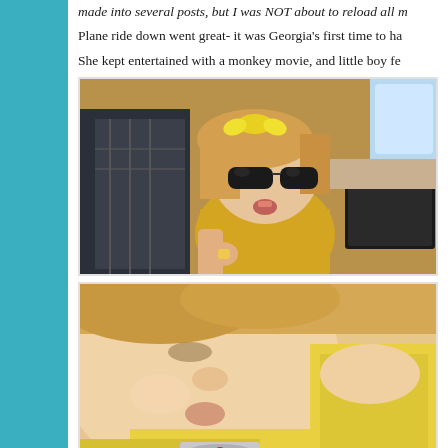made into several posts, but I was NOT about to reload all m
Plane ride down went great- it was Georgia's first time to ha
She kept entertained with a monkey movie, and little boy fe
[Figure (photo): Young toddler girl with blonde hair and yellow bow wearing oversized sunglasses on an airplane, holding a snack, with a laptop/tablet visible beside her. Adult in plaid shirt visible to the left.]
[Figure (photo): Close-up of a young girl in a yellow dress looking down, with what appears to be a wings pin or badge visible at the bottom of the frame.]